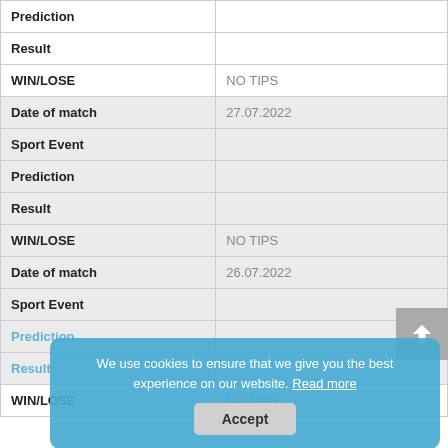| Prediction |  |
| Result |  |
| WIN/LOSE | NO TIPS |
| Date of match | 27.07.2022 |
| Sport Event |  |
| Prediction |  |
| Result |  |
| WIN/LOSE | NO TIPS |
| Date of match | 26.07.2022 |
| Sport Event |  |
| Prediction |  |
| Result |  |
| WIN/LOSE | NO TIPS |
We use cookies to ensure that we give you the best experience on our website. Read more   Accept